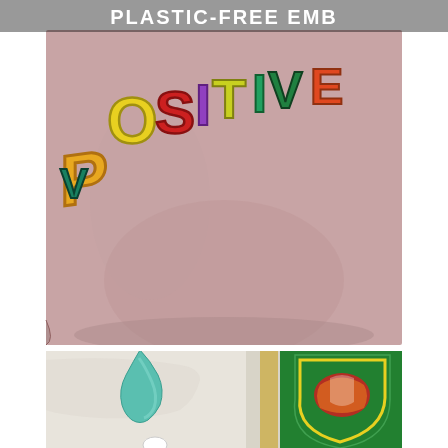[Figure (photo): Two product photos. Top: close-up of a pink canvas tote bag with colorful embroidered letters spelling 'POSITIVE VIBES' in rainbow colors (yellow, red, purple, green, teal, etc.) on pink fabric. Bottom: close-up of a white fabric bag with teal/blue strap handle and a colorful printed badge/patch in green, yellow and red on the right side.]
PLASTIC-FREE EMB